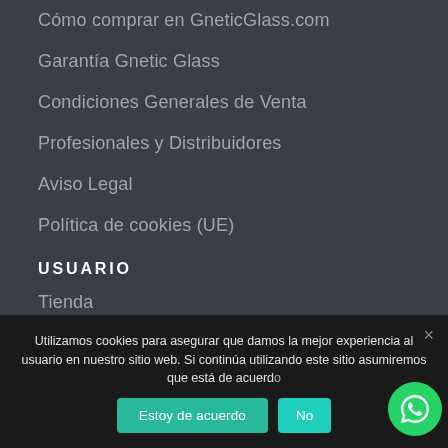Cómo comprar en GneticGlass.com
Garantía Gnetic Glass
Condiciones Generales de Venta
Profesionales y Distribuidores
Aviso Legal
Política de cookies (UE)
USUARIO
Tienda
Mi cuenta
Utilizamos cookies para asegurar que damos la mejor experiencia al usuario en nuestro sitio web. Si continúa utilizando este sitio asumiremos que está de acuerdo
Estoy de acuerdo
No